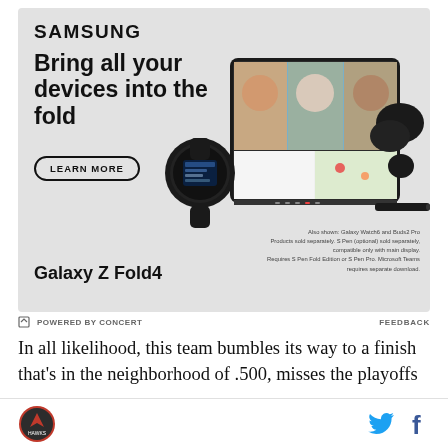[Figure (advertisement): Samsung Galaxy Z Fold4 advertisement showing the foldable phone open with a video call showing three people, alongside a Galaxy Watch6 and Buds2 Pro. The ad headline reads 'Bring all your devices into the fold' with a 'LEARN MORE' button and the Samsung logo at top.]
Also shown: Galaxy Watch6 and Buds2 Pro
Products sold separately. S Pen (optional) sold separately, compatible only with main display.
Requires S Pen Fold Edition or S Pen Pro. Microsoft Teams requires separate download.
POWERED BY CONCERT    FEEDBACK
In all likelihood, this team bumbles its way to a finish that's in the neighborhood of .500, misses the playoffs
site logo and social icons (Twitter, Facebook)